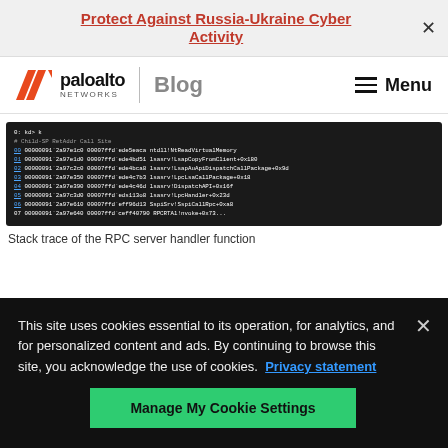Protect Against Russia-Ukraine Cyber Activity
[Figure (logo): Palo Alto Networks logo with Blog label and Menu navigation]
[Figure (screenshot): Terminal/debugger stack trace showing kernel debugger output with RPC server handler function calls including ntdll!NtReadVirtualMemory, lsasrv!LsapCopyFromClient, lsasrv!LsapAuApiDispatchCallPackage, lsasrv!LpcLsaCallPackage, lsasrv!DispatchAPI, lsasrv!LpcHandler, SspiSrv!SspiCallRpc]
Stack trace of the RPC server handler function
This site uses cookies essential to its operation, for analytics, and for personalized content and ads. By continuing to browse this site, you acknowledge the use of cookies. Privacy statement
Manage My Cookie Settings